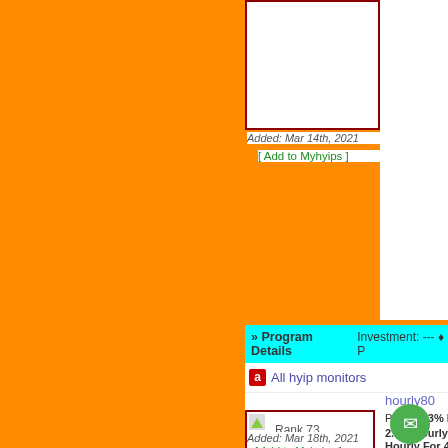[Figure (screenshot): Top listing card image box with dark red border, partially visible]
Added: Mar 14th, 2021
[ Add to Myhyips ]
Our Rating: (strikethrough dollar signs)
Last Paid: No Payout
Support: (envelope icon) |
>> Program Details   Investment: --- ♦ P
a All hyip monitors
hourly80
Rank 73
Plans: 1.3% Hourly f... 2.5% Hourly For 60 ... Hourly For 40 Hours
Our Rating: (strikethrough dollar signs)
Last Paid: No Payout
Support: (envelope icon) |
Added: Mar 18th, 2021
[ Add to Myhyips ]